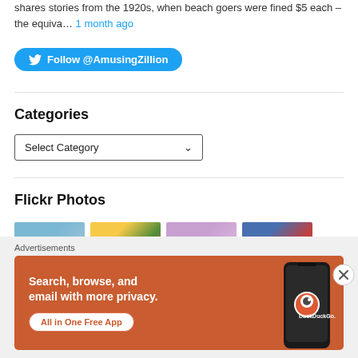shares stories from the 1920s, when beach goers were fined $5 each – the equiva… 1 month ago
Follow @AmusingZillion
Categories
Select Category
Flickr Photos
[Figure (photo): Four flickr photo thumbnails showing outdoor scenes]
Advertisements
[Figure (infographic): DuckDuckGo advertisement banner: Search, browse, and email with more privacy. All in One Free App. Shows DuckDuckGo logo and phone mockup on orange background.]